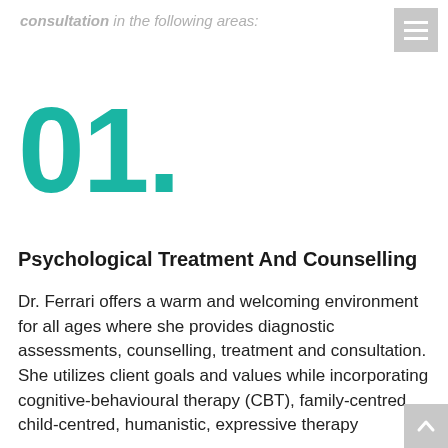consultation in the following areas:
01.
Psychological Treatment And Counselling
Dr. Ferrari offers a warm and welcoming environment for all ages where she provides diagnostic assessments, counselling, treatment and consultation. She utilizes client goals and values while incorporating cognitive-behavioural therapy (CBT), family-centred, child-centred, humanistic, expressive therapy